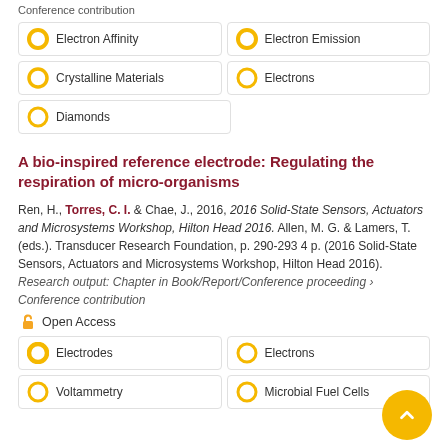Conference contribution
Electron Affinity
Electron Emission
Crystalline Materials
Electrons
Diamonds
A bio-inspired reference electrode: Regulating the respiration of micro-organisms
Ren, H., Torres, C. I. & Chae, J., 2016, 2016 Solid-State Sensors, Actuators and Microsystems Workshop, Hilton Head 2016. Allen, M. G. & Lamers, T. (eds.). Transducer Research Foundation, p. 290-293 4 p. (2016 Solid-State Sensors, Actuators and Microsystems Workshop, Hilton Head 2016). Research output: Chapter in Book/Report/Conference proceeding › Conference contribution
Open Access
Electrodes
Electrons
Voltammetry
Microbial Fuel Cells